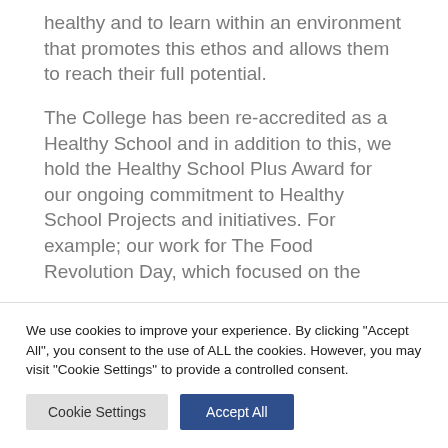healthy and to learn within an environment that promotes this ethos and allows them to reach their full potential.
The College has been re-accredited as a Healthy School and in addition to this, we hold the Healthy School Plus Award for our ongoing commitment to Healthy School Projects and initiatives. For example; our work for The Food Revolution Day, which focused on the
We use cookies to improve your experience. By clicking "Accept All", you consent to the use of ALL the cookies. However, you may visit "Cookie Settings" to provide a controlled consent.